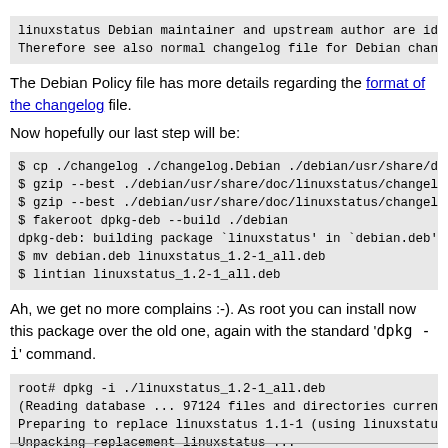linuxstatus Debian maintainer and upstream author are id
Therefore see also normal changelog file for Debian chan
The Debian Policy file has more details regarding the format of the changelog file.
Now hopefully our last step will be:
$ cp ./changelog ./changelog.Debian ./debian/usr/share/d
$ gzip --best ./debian/usr/share/doc/linuxstatus/changel
$ gzip --best ./debian/usr/share/doc/linuxstatus/changel
$ fakeroot dpkg-deb --build ./debian
dpkg-deb: building package `linuxstatus' in `debian.deb'
$ mv debian.deb linuxstatus_1.2-1_all.deb
$ lintian linuxstatus_1.2-1_all.deb
Ah, we get no more complains :-). As root you can install now this package over the old one, again with the standard 'dpkg -i' command.
root# dpkg -i ./linuxstatus_1.2-1_all.deb
(Reading database ... 97124 files and directories curren
Preparing to replace linuxstatus 1.1-1 (using linuxstatu
Unpacking replacement linuxstatus ...
Setting up linuxstatus (1.2-1) ...